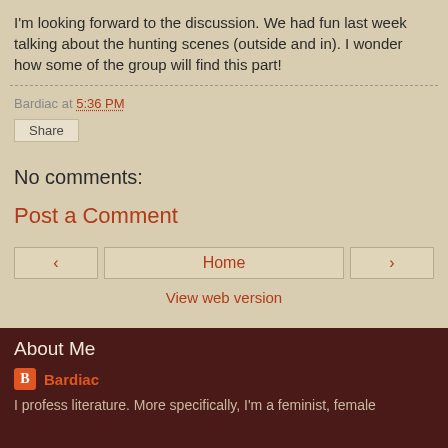I'm looking forward to the discussion.  We had fun last week talking about the hunting scenes (outside and in).  I wonder how some of the group will find this part!
Bardiac at 5:36 PM
Share
No comments:
Post a Comment
< Home >
View web version
About Me
Bardiac
I profess literature. More specifically, I'm a feminist, female